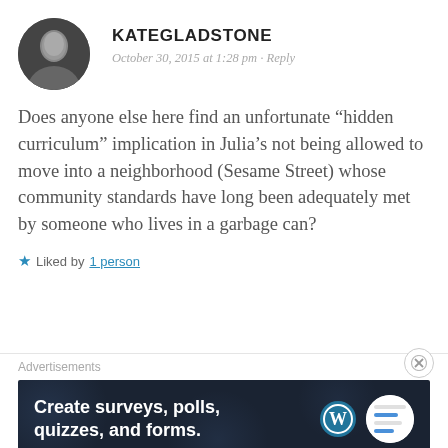KATEGLADSTONE
October 30, 2015 at 1:28 pm · Reply
Does anyone else here find an unfortunate “hidden curriculum” implication in Julia’s not being allowed to move into a neighborhood (Sesame Street) whose community standards have long been adequately met by someone who lives in a garbage can?
★ Liked by 1 person
Advertisements
[Figure (infographic): Dark navy advertisement banner reading 'Create surveys, polls, quizzes, and forms.' with WordPress logo and a Survey Anyplace logo circle on the right.]